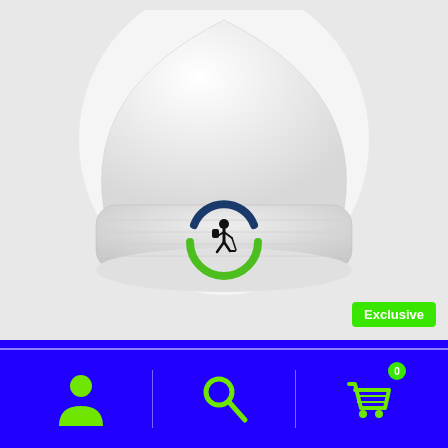[Figure (photo): White knit beanie hat with a circular hiking logo embroidered on the cuff. The logo features a hiker silhouette in black, surrounded by a blue arc on top and a green arc on the bottom.]
Exclusive
[Figure (other): Blue navigation bar with three icons: a person/user icon on the left, a search/magnifying glass icon in the center, and a shopping cart icon with a green badge showing 0 on the right.]